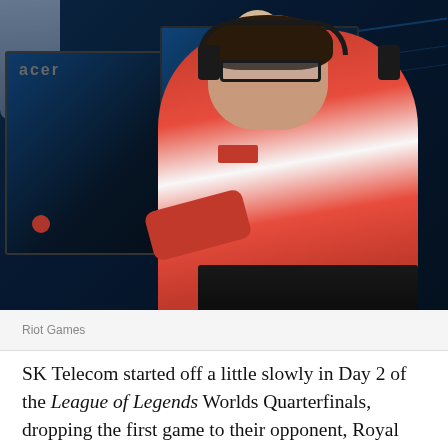[Figure (photo): A League of Legends esports player in a red and white jersey sitting at an Acer gaming monitor with a keyboard, focused on the screen. A coach in a suit with a tie leans over behind him. The background shows a dark blue esports arena setting.]
Riot Games
SK Telecom started off a little slowly in Day 2 of the League of Legends Worlds Quarterfinals, dropping the first game to their opponent, Royal Never Give Up. In true SKT fashion however, they bounced back to take the series 3-1, clinching themselves a spot in the semi